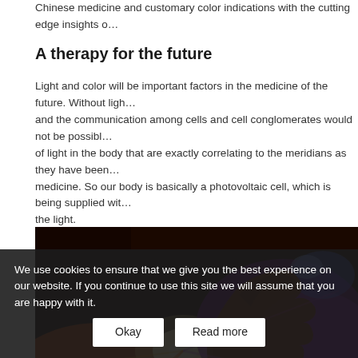Chinese medicine and customary color indications with the cutting edge insights o…
A therapy for the future
Light and color will be important factors in the medicine of the future. Without ligh… and the communication among cells and cell conglomerates would not be possibl… of light in the body that are exactly correlating to the meridians as they have been… medicine. So our body is basically a photovoltaic cell, which is being supplied with… the light.
[Figure (photo): Close-up photograph of a hand touching colorful fiber optic lights emitting orange, yellow, purple, and blue light beams]
Balancing through pure information
In order to stimulate the self regulatory mechanisms of the organism, colorpunctu… information into the body. The stimulation of sensitive acupuncture points is co…
We use cookies to ensure that we give you the best experience on our website. If you continue to use this site we will assume that you are happy with it.